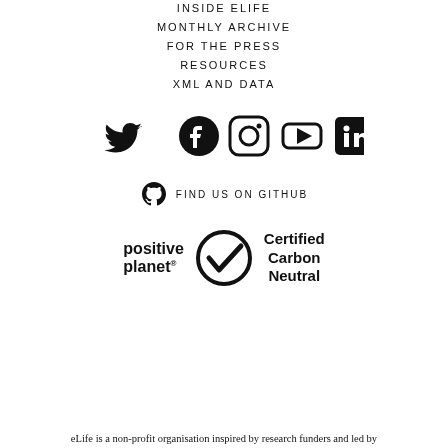INSIDE ELIFE
MONTHLY ARCHIVE
FOR THE PRESS
RESOURCES
XML AND DATA
[Figure (infographic): Social media icons: Twitter, Facebook, Instagram, YouTube, LinkedIn]
[Figure (infographic): GitHub logo icon with text FIND US ON GITHUB]
[Figure (logo): Positive Planet logo and Certified Carbon Neutral checkmark logo]
eLife is a non-profit organisation inspired by research funders and led by